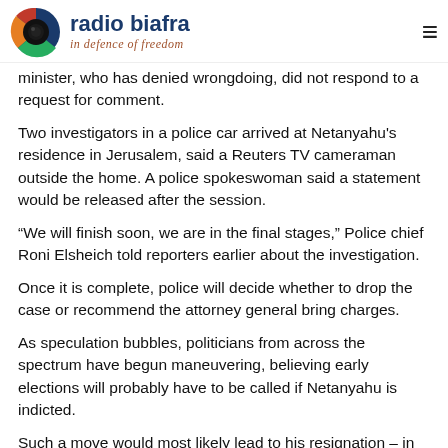radio biafra — in defence of freedom
minister, who has denied wrongdoing, did not respond to a request for comment.
Two investigators in a police car arrived at Netanyahu's residence in Jerusalem, said a Reuters TV cameraman outside the home. A police spokeswoman said a statement would be released after the session.
“We will finish soon, we are in the final stages,” Police chief Roni Elsheich told reporters earlier about the investigation.
Once it is complete, police will decide whether to drop the case or recommend the attorney general bring charges.
As speculation bubbles, politicians from across the spectrum have begun maneuvering, believing early elections will probably have to be called if Netanyahu is indicted.
Such a move would most likely lead to his resignation – in 1993 the Supreme Court set a precedent for ministers to step down if they are charged with corruption.
It is possible someone from his Likud party could replace